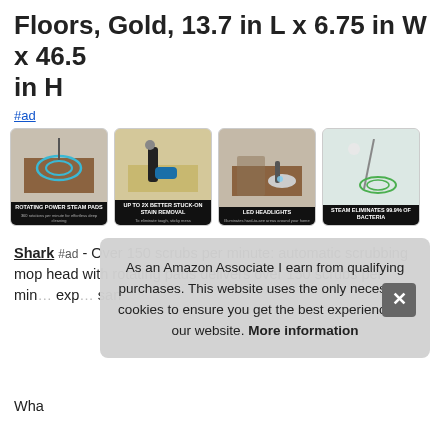Floors, Gold, 13.7 in L x 6.75 in W x 46.5 in H
#ad
[Figure (photo): Four product images of a Shark steam mop: 1) Rotating power steam pads on hardwood floor, 2) Up to 2x better stuck-on stain removal, 3) LED headlights, 4) Steam eliminates 99.9% of bacteria]
Shark #ad - Over 150 scrubs per minute: automatic scrubbing mop head with rotating pads delivers over 150 scrubs per min experience san
Wha
As an Amazon Associate I earn from qualifying purchases. This website uses the only necessary cookies to ensure you get the best experience on our website. More information